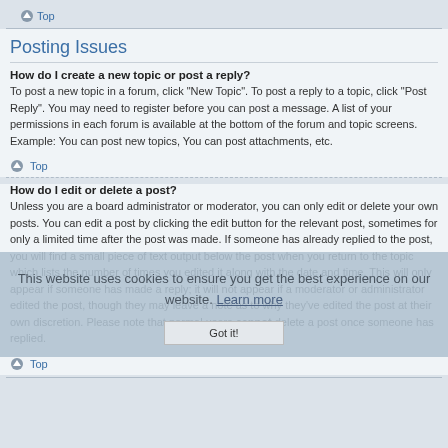↑ Top
Posting Issues
How do I create a new topic or post a reply?
To post a new topic in a forum, click "New Topic". To post a reply to a topic, click "Post Reply". You may need to register before you can post a message. A list of your permissions in each forum is available at the bottom of the forum and topic screens. Example: You can post new topics, You can post attachments, etc.
↑ Top
How do I edit or delete a post?
Unless you are a board administrator or moderator, you can only edit or delete your own posts. You can edit a post by clicking the edit button for the relevant post, sometimes for only a limited time after the post was made. If someone has already replied to the post, you will find a small piece of text output below the post when you return to the topic which lists the number of times you edited it along with the date and time. This will only appear if someone has made a reply; it will not appear if a moderator or administrator edited the post, though they may leave a note as to why they've edited the post at their own discretion. Please note that normal users cannot delete a post once someone has replied.
↑ Top